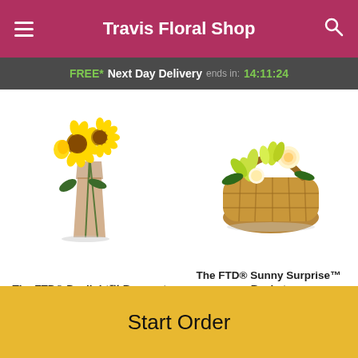Travis Floral Shop
FREE* Next Day Delivery ends in: 14:11:24
[Figure (photo): The FTD Daylight Bouquet - yellow sunflowers and roses in a glass vase]
The FTD® Daylight™ Bouquet
From $79.99
[Figure (photo): The FTD Sunny Surprise Basket - yellow lilies and roses in a wicker basket]
The FTD® Sunny Surprise™ Basket
From $79.99
POWERED BY
Start Order